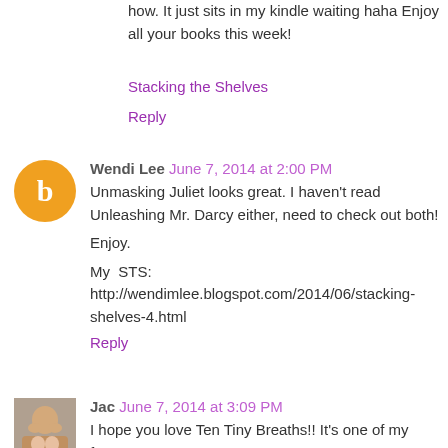how. It just sits in my kindle waiting haha Enjoy all your books this week!
Stacking the Shelves
Reply
Wendi Lee  June 7, 2014 at 2:00 PM
Unmasking Juliet looks great. I haven't read Unleashing Mr. Darcy either, need to check out both!
Enjoy.
My STS: http://wendimlee.blogspot.com/2014/06/stacking-shelves-4.html
Reply
Jac  June 7, 2014 at 3:09 PM
I hope you love Ten Tiny Breaths!! It's one of my faves!